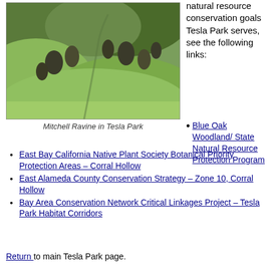[Figure (photo): Landscape photo of Mitchell Ravine in Tesla Park showing green rolling hills with scattered trees and shrubs]
Mitchell Ravine in Tesla Park
natural resource conservation goals Tesla Park serves, see the following links:
Blue Oak Woodland/ State Natural Resource Protection Program
East Bay California Native Plant Society Botanical Priority Protection Areas – Corral Hollow
East Alameda County Conservation Strategy – Zone 10, Corral Hollow
Bay Area Conservation Network Critical Linkages Project – Tesla Park Habitat Corridors
Return to main Tesla Park page.